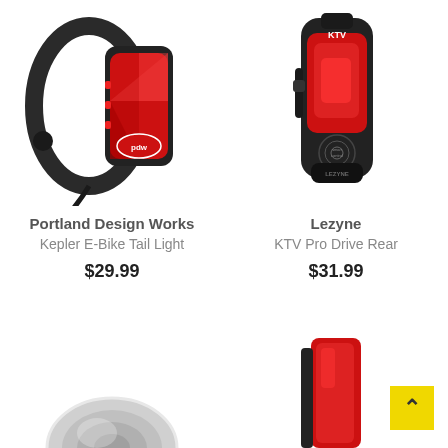[Figure (photo): Portland Design Works Kepler E-Bike Tail Light - a black bike tail light with bright red lens mounted on a handlebar clamp, shown at an angle]
Portland Design Works
Kepler E-Bike Tail Light
$29.99
[Figure (photo): Lezyne KTV Pro Drive Rear light - a slim black USB rechargeable bike tail light with red lens, showing smart control branding]
Lezyne
KTV Pro Drive Rear
$31.99
[Figure (photo): Partial view of a silver/chrome bike light at the bottom left of the page]
[Figure (photo): Partial view of a red and black bike tail light at the bottom right of the page]